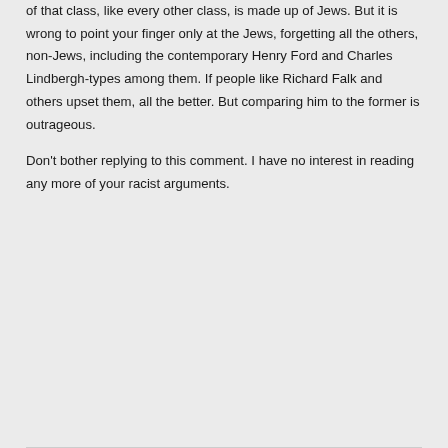of that class, like every other class, is made up of Jews. But it is wrong to point your finger only at the Jews, forgetting all the others, non-Jews, including the contemporary Henry Ford and Charles Lindbergh-types among them. If people like Richard Falk and others upset them, all the better. But comparing him to the former is outrageous.
Don't bother replying to this comment. I have no interest in reading any more of your racist arguments.